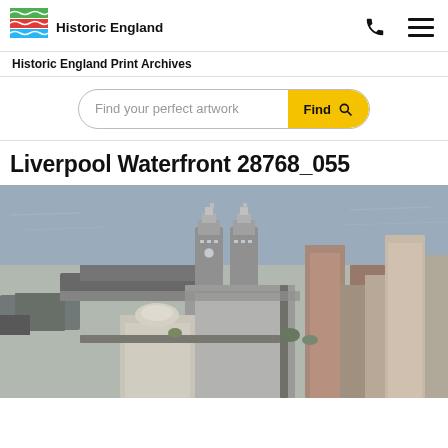[Figure (logo): Historic England logo with coloured flag/waves icon and text 'Historic England']
Historic England Print Archives
Find your perfect artwork
Liverpool Waterfront 28768_055
[Figure (photo): Aerial photograph of Liverpool Waterfront showing the Royal Liver Building, the Three Graces, and the River Mersey waterfront with surrounding urban buildings.]